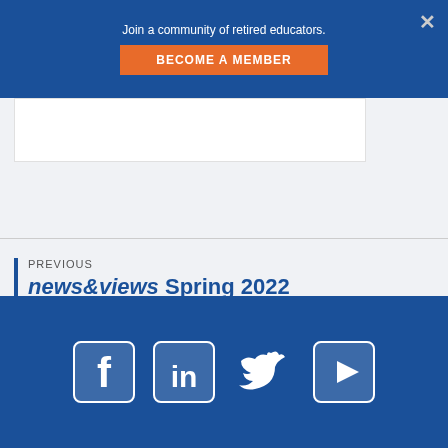Join a community of retired educators. BECOME A MEMBER
PREVIOUS news&views Spring 2022
NEXT The Rule of 30: A Better Way to Save for Retirement
[Figure (infographic): Social media icons: Facebook, LinkedIn, Twitter, YouTube in white on dark blue footer background]